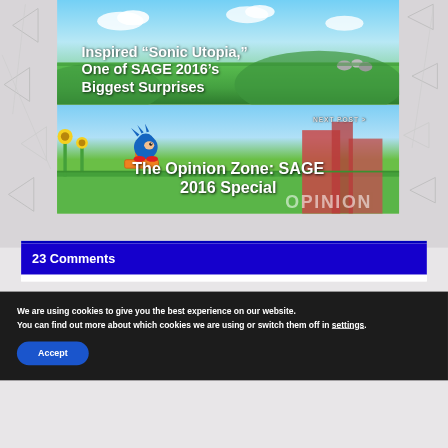[Figure (screenshot): Game screenshot showing green grassy world with text overlay: Inspired "Sonic Utopia," One of SAGE 2016's Biggest Surprises]
Inspired “Sonic Utopia,” One of SAGE 2016’s Biggest Surprises
[Figure (screenshot): Game screenshot showing Sonic the Hedgehog character in colorful level, with text overlay: NEXT POST > The Opinion Zone: SAGE 2016 Special]
NEXT POST >
The Opinion Zone: SAGE 2016 Special
23 Comments
We are using cookies to give you the best experience on our website.
You can find out more about which cookies we are using or switch them off in settings.
Accept